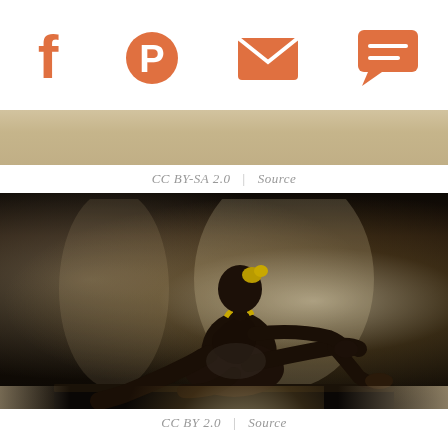Social share icons: Facebook, Pinterest, Email, Comment
[Figure (photo): Partial top view of a light-colored lifestyle or floral scene, cropped strip]
CC BY-SA 2.0  |  Source
[Figure (photo): Silhouette of a young woman in a white dress with yellow accents, sitting on a windowsill with backlit sheer curtains]
CC BY 2.0  |  Source